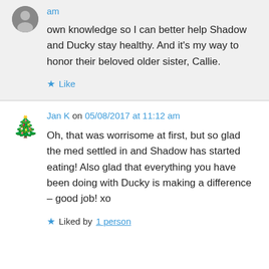am
own knowledge so I can better help Shadow and Ducky stay healthy. And it's my way to honor their beloved older sister, Callie.
★ Like
Jan K on 05/08/2017 at 11:12 am
Oh, that was worrisome at first, but so glad the med settled in and Shadow has started eating! Also glad that everything you have been doing with Ducky is making a difference – good job! xo
★ Liked by 1 person